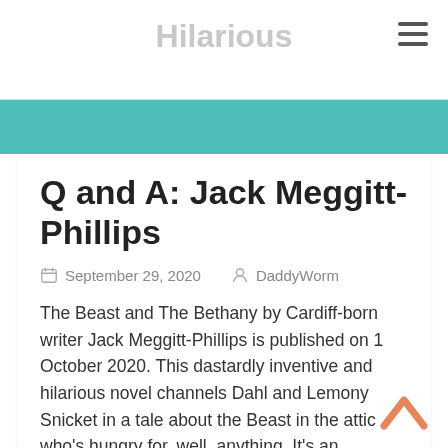Hilarious
Q and A: Jack Meggitt-Phillips
September 29, 2020   DaddyWorm
The Beast and The Bethany by Cardiff-born writer Jack Meggitt-Phillips is published on 1 October 2020. This dastardly inventive and hilarious novel channels Dahl and Lemony Snicket in a tale about the Beast in the attic who's hungry for, well, anything. It's an absolute delight – brilliantly written so that it can be enjoyed by a wide range of ages (including adults!). Kit (aged 7) thought it was